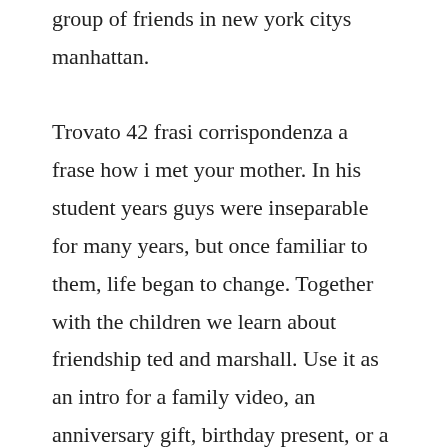group of friends in new york citys manhattan. Trovato 42 frasi corrispondenza a frase how i met your mother. In his student years guys were inseparable for many years, but once familiar to them, life began to change. Together with the children we learn about friendship ted and marshall. Use it as an intro for a family video, an anniversary gift, birthday present, or a gift for your best friends. Robin and ted, shows up after they have spent a night together in the previous season finale. Descargar how i met your mothermega hd idioma dual lat. Descargar